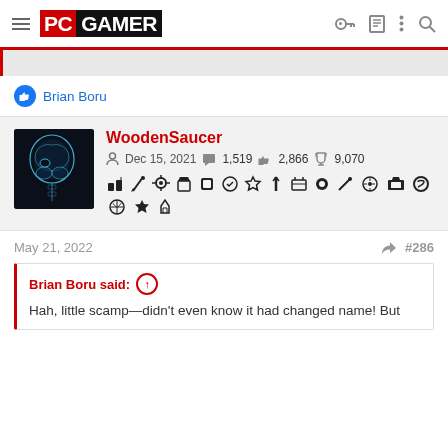PC GAMER
Brian Boru
WoodenSaucer
Dec 15, 2021  1,519  2,866  9,070
May 21, 2022  #286
Brian Boru said:
Hah, little scamp—didn't even know it had changed name! But